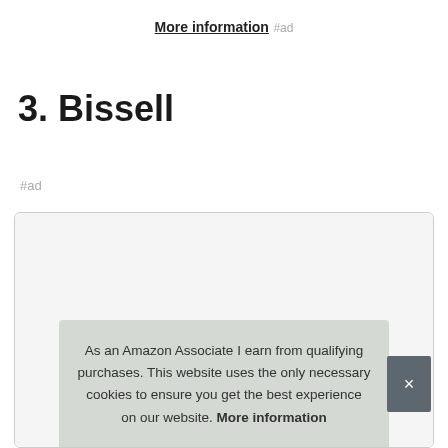More information #ad
3. Bissell
#ad
[Figure (screenshot): Product card with cookie consent banner overlay. Banner text: 'As an Amazon Associate I earn from qualifying purchases. This website uses the only necessary cookies to ensure you get the best experience on our website. More information' with a close (×) button.]